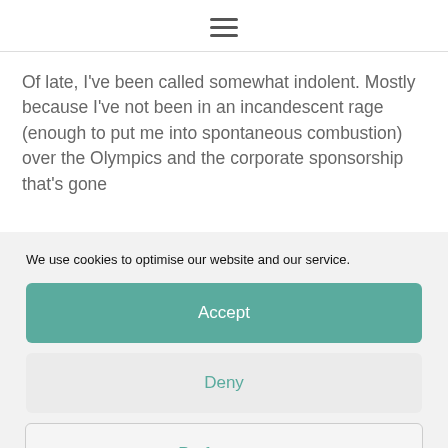≡
Of late, I've been called somewhat indolent. Mostly because I've not been in an incandescent rage (enough to put me into spontaneous combustion) over the Olympics and the corporate sponsorship that's gone
We use cookies to optimise our website and our service.
Accept
Deny
Preferences
Cookie Policy   Privacy Policy